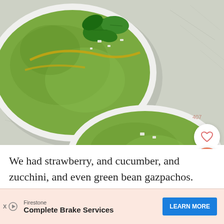[Figure (photo): Overhead view of two white bowls containing green gazpacho soup garnished with fresh mint, feta cheese crumbles, and olive oil drizzle, on a light gray crackled surface]
We had strawberry, and cucumber, and zucchini, and even green bean gazpachos. They were all amazingly refreshing and full of flavor. The
[Figure (other): Advertisement banner: Firestone Complete Brake Services with LEARN MORE button]